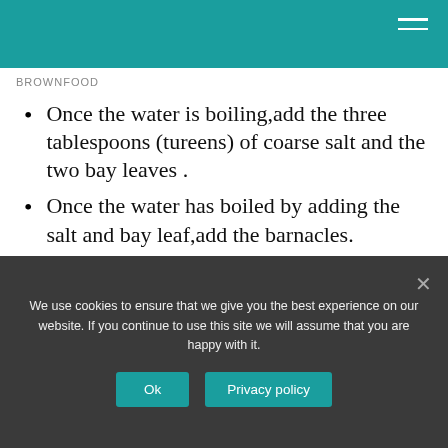BROWNFOOD
Once the water is boiling,add the three tablespoons (tureens) of coarse salt and the two bay leaves .
Once the water has boiled by adding the salt and bay leaf,add the barnacles.
How to eat barnacles?
[Figure (screenshot): Business Insider video thumbnail: 'Why Gooseneck Barnacles Are...' with Business Insider logo on dark background]
We use cookies to ensure that we give you the best experience on our website. If you continue to use this site we will assume that you are happy with it.
Ok
Privacy policy